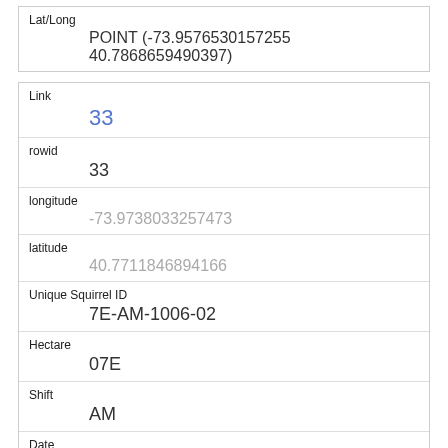| Field | Value |
| --- | --- |
| Lat/Long | POINT (-73.9576530157255 40.7868659490397) |
| Link | 33 |
| rowid | 33 |
| longitude | -73.9738033257473 |
| latitude | 40.7711846894166 |
| Unique Squirrel ID | 7E-AM-1006-02 |
| Hectare | 07E |
| Shift | AM |
| Date | 10062018 |
| Hectare Squirrel Number |  |